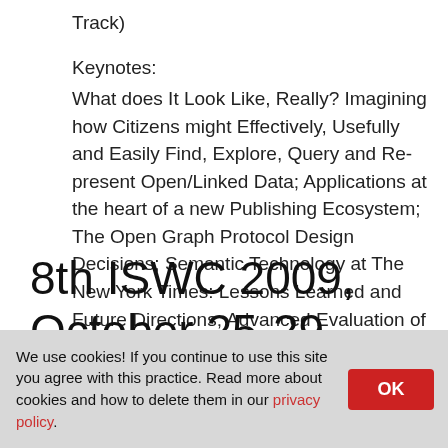Track)
Keynotes:
What does It Look Like, Really? Imagining how Citizens might Effectively, Usefully and Easily Find, Explore, Query and Re-present Open/Linked Data; Applications at the heart of a new Publishing Ecosystem; The Open Graph Protocol Design Decisions; Semantic Technology at The New York Times: Lessons Learned and Future Directions; Advanced Evaluation of Web Search – Methodology and Technology
8th ISWC 2009, October 25-29,
We use cookies! If you continue to use this site you agree with this practice. Read more about cookies and how to delete them in our privacy policy.